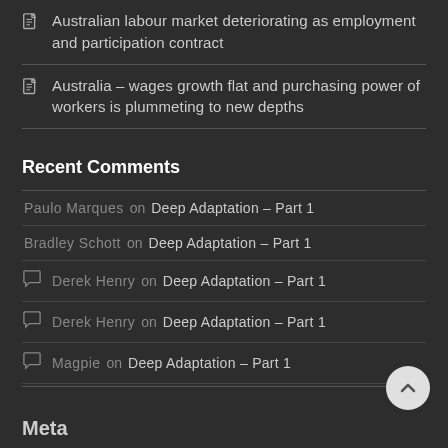Australian labour market deteriorating as employment and participation contract
Australia – wages growth flat and purchasing power of workers is plummeting to new depths
Recent Comments
Paulo Marques on Deep Adaptation – Part 1
Bradley Schott on Deep Adaptation – Part 1
Derek Henry on Deep Adaptation – Part 1
Derek Henry on Deep Adaptation – Part 1
Magpie on Deep Adaptation – Part 1
Meta